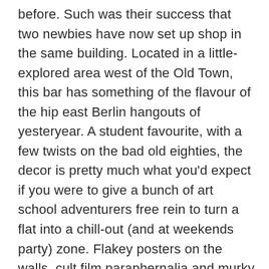before. Such was their success that two newbies have now set up shop in the same building. Located in a little-explored area west of the Old Town, this bar has something of the flavour of the hip east Berlin hangouts of yesteryear. A student favourite, with a few twists on the bad old eighties, the decor is pretty much what you'd expect if you were to give a bunch of art school adventurers free rein to turn a flat into a chill-out (and at weekends party) zone. Flakey posters on the walls, cult film paraphernalia and murky lighting all dovetail to create a classic Cracow experience. Look out for concerts by alternative groups from across Poland (Sundays at 8) , also regular screenings of film classics (Mondays and Tuesdays at 8). Find it on the first floor